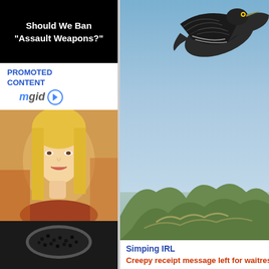[Figure (screenshot): Black background with white bold text reading Should We Ban "Assault Weapons?"]
PROMOTED CONTENT
[Figure (logo): mgid logo with play button icon]
[Figure (photo): Blonde woman looking at camera - movie promotional photo]
Actors Who Tore Down Entire Career On The Heals Of One Great Film
[Figure (photo): Bird (likely heron) in flight against blue sky with tree tops visible below - nature photograph]
Simping IRL
Creepy receipt message left for waitress given $1,000 t
[Figure (photo): Close-up of dark granular substance (possibly chia seeds or black salt) on a spoon]